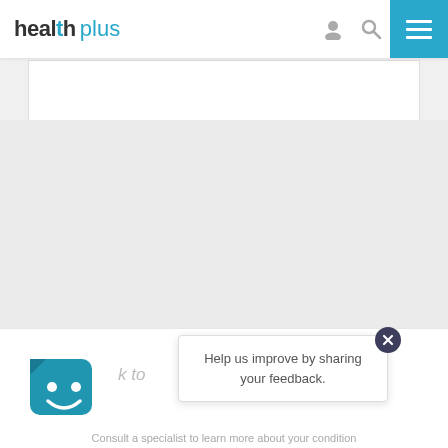[Figure (screenshot): Health Plus website navigation bar with logo, user icon, search icon, and hamburger menu button in blue]
[Figure (other): White advertisement banner placeholder below navigation]
[Figure (other): Gray content area (likely image or ad content area)]
[Figure (other): White card at bottom with chatbot icon (blue square with smiley face), tooltip popup saying 'Help us improve by sharing your feedback.' with close button, and partial italic text 'k to']
Help us improve by sharing your feedback.
Consult a specialist to learn more about your condition